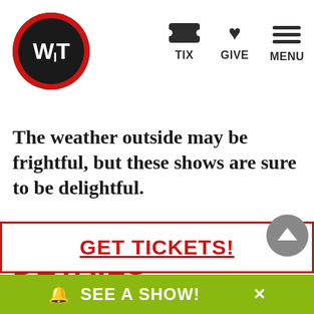WIT logo with TIX, GIVE, MENU navigation
The weather outside may be frightful, but these shows are sure to be delightful.
DETAILS
DATE: Friday February 5, 2016
TIME: 7:30 PM
GET TICKETS!
SEE A SHOW!